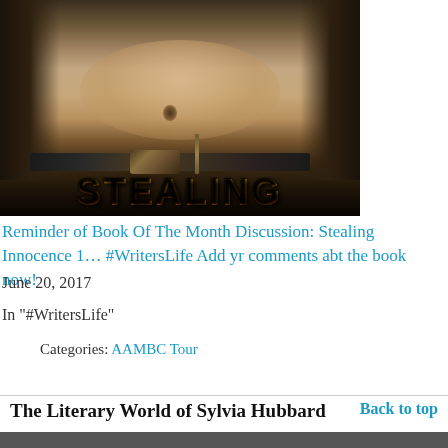[Figure (photo): Book cover image of 'Stealing Innocence' showing a muscular male torso with open jacket and belt, with the word STEALING visible in orange/gold lettering at the bottom]
Reminder of Book Of The Month Discussion: Stealing Innocence 1… #WritersLife Add yr comments abt the book now!
June 20, 2017
In "#WritersLife"
Categories: AAMBC Tour
The Literary World of Sylvia Hubbard
Back to top